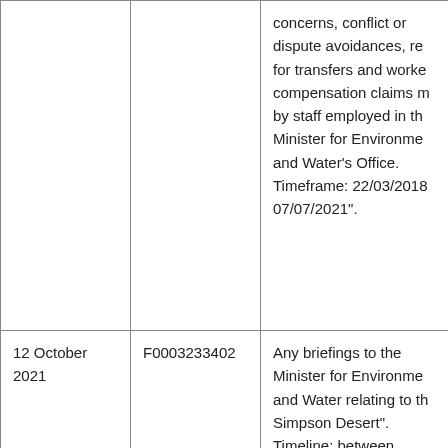| Date | Reference | Description |
| --- | --- | --- |
|  |  | concerns, conflict or dispute avoidances, re for transfers and worke compensation claims m by staff employed in th Minister for Environme and Water's Office. Timeframe: 22/03/2018 07/07/2021". |
| 12 October 2021 | F0003233402 | Any briefings to the Minister for Environme and Water relating to th Simpson Desert". Timeline: between 19/03/2018 to 22/03/20 |